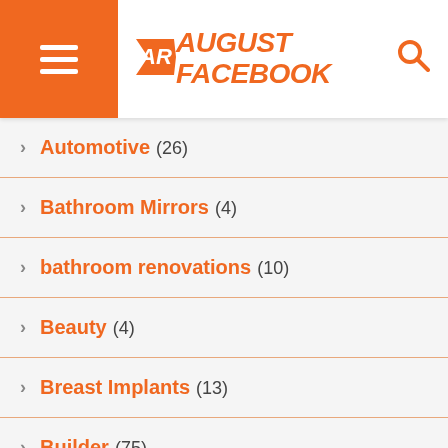August Facebook
Automotive (26)
Bathroom Mirrors (4)
bathroom renovations (10)
Beauty (4)
Breast Implants (13)
Builder (75)
Building and Construction (60)
Building Inspections (15)
Building Supplies (2)
Business (46)